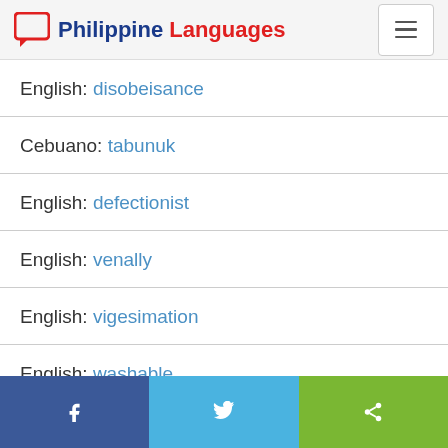Philippine Languages
English: disobeisance
Cebuano: tabunuk
English: defectionist
English: venally
English: vigesimation
English: washable
Facebook | Twitter | Share